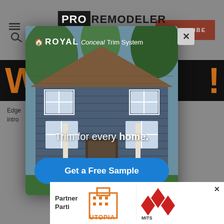[Figure (screenshot): PRO REMODELER website header with logo, subscribe button, and navigation icons]
[Figure (infographic): Royal Conceal Trim System advertisement popup showing a craftsman home with blue siding, text 'Trim for every home.' and a 'Get a Free Sample' blue CTA button]
Edge
intr
[Figure (logo): Utopia logo in orange outline style]
[Figure (logo): Mitsubishi Electric logo with red diamond symbol]
Partner